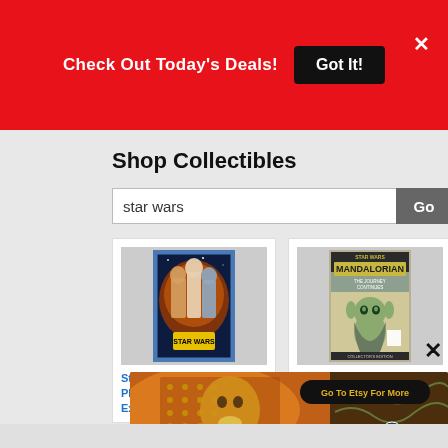Check Out Today's Deals! Got It!
Shop Collectibles
star wars
[Figure (screenshot): Star Wars Insider Issue 211 trading card style collectible cover showing characters]
Star Wars Insider Issue 211 PREVIEWS Comic Store Exclusive Cover Edition
[Figure (screenshot): Star Wars Mandalorian Guide to Season Two Newsstand Edition magazine cover featuring Baby Yoda]
Star Wars Mandalorian Guide to Season Two Newsstand Edition
[Figure (illustration): Jurga Creations Etsy advertisement with colorful folk art face illustration and Go To Etsy For More button]